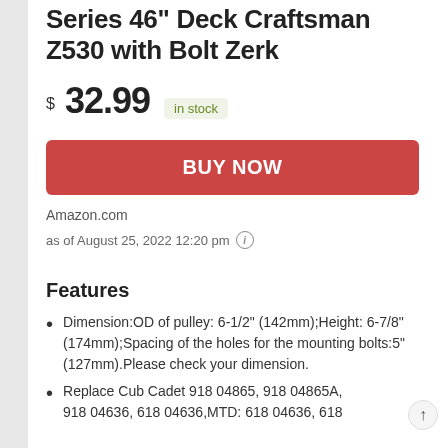Series 46" Deck Craftsman Z530 with Bolt Zerk
$32.99 in stock
[Figure (other): BUY NOW button - red rounded rectangle with white bold text]
Amazon.com
as of August 25, 2022 12:20 pm ⓘ
Features
Dimension:OD of pulley: 6-1/2" (142mm);Height: 6-7/8" (174mm);Spacing of the holes for the mounting bolts:5" (127mm).Please check your dimension.
Replace Cub Cadet 918 04865, 918 04865A, 918 04636, 618 04636,MTD: 618 04636, 618